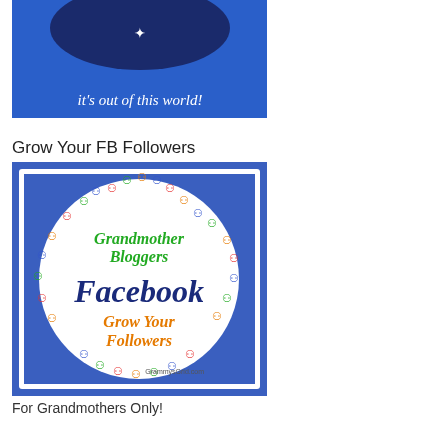[Figure (illustration): Blue banner image with text 'it's out of this world!' and a dark circular planet/moon shape with a star, on a blue background.]
Grow Your FB Followers
[Figure (illustration): Square image with blue background showing a circle of colorful stick figures (people) in red, green, blue, orange colors arranged in a ring. Inside the circle: 'Grandmother Bloggers' in green script, 'Facebook' in large dark blue bold text, 'Grow Your Followers' in orange script. Bottom right says 'GrammysGrid.com'.]
For Grandmothers Only!